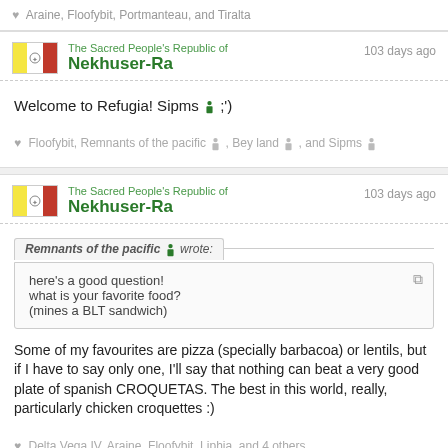♥ Araine, Floofybit, Portmanteau, and Tiralta
The Sacred People's Republic of Nekhuser-Ra — 103 days ago
Welcome to Refugia! Sipms 🧍 ;')
♥ Floofybit, Remnants of the pacific 🧍, Bey land 🧍, and Sipms 🧍
The Sacred People's Republic of Nekhuser-Ra — 103 days ago
Remnants of the pacific 🧍 wrote: here's a good question! what is your favorite food? (mines a BLT sandwich)
Some of my favourites are pizza (specially barbacoa) or lentils, but if I have to say only one, I'll say that nothing can beat a very good plate of spanish CROQUETAS. The best in this world, really, particularly chicken croquettes :)
♥ Delta Vega IV, Araine, Floofybit, Liphia, and 4 others